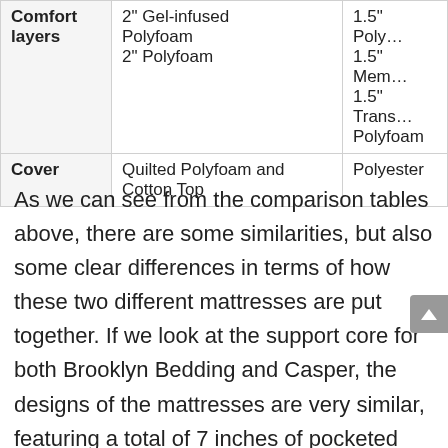|  | Column 2 (truncated) | Column 3 (truncated) |
| --- | --- | --- |
| Comfort layers | 2" Gel-infused Polyfoam
2" Polyfoam | 1.5" Poly...
1.5" Mem...
1.5" Trans...
Polyfoam |
| Cover | Quilted Polyfoam and Cotton Top | Polyester |
As we can see from the comparison tables above, there are some similarities, but also some clear differences in terms of how these two different mattresses are put together. If we look at the support core for both Brooklyn Bedding and Casper, the designs of the mattresses are very similar, featuring a total of 7 inches of pocketed coils and HD foam.